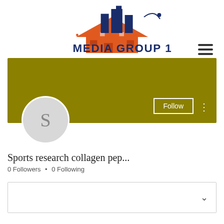[Figure (logo): Media Group 121 logo with building and roof graphic, dark blue and orange colors, bold text MEDIA GROUP 121]
[Figure (screenshot): Social media profile page UI showing olive/dark yellow banner, circular avatar with letter S, Follow button, three-dots menu, profile name 'Sports research collagen pep...', 0 Followers and 0 Following counts, a collapsible section box, and Profile section header]